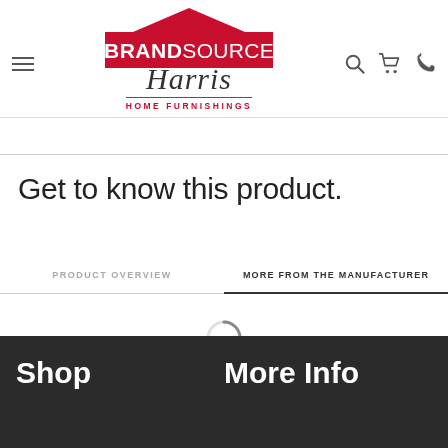[Figure (logo): BrandSource Harris Home Furnishings logo with red house/roof shape, white brand text, italic Harris script, and HOME FURNISHINGS in red caps]
Get to know this product.
PRODUCT OVERVIEW
MORE FROM THE MANUFACTURER
[Figure (other): Loading spinner circle]
Shop
More Info